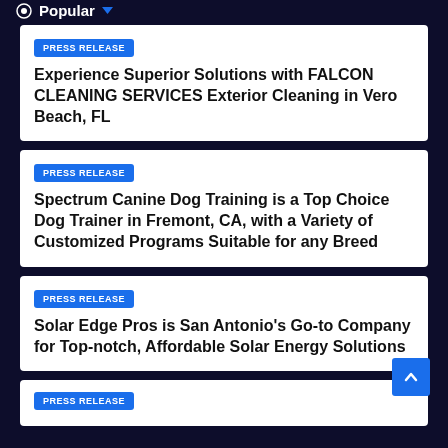Popular
PRESS RELEASE
Experience Superior Solutions with FALCON CLEANING SERVICES Exterior Cleaning in Vero Beach, FL
PRESS RELEASE
Spectrum Canine Dog Training is a Top Choice Dog Trainer in Fremont, CA, with a Variety of Customized Programs Suitable for any Breed
PRESS RELEASE
Solar Edge Pros is San Antonio's Go-to Company for Top-notch, Affordable Solar Energy Solutions
PRESS RELEASE